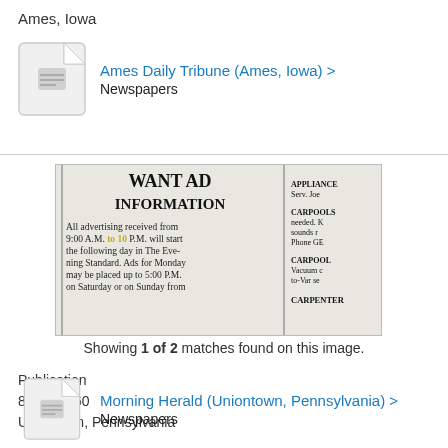Ames, Iowa
[Figure (other): Document/newspaper icon thumbnail for Ames Daily Tribune]
Ames Daily Tribune (Ames, Iowa) > 
Newspapers
[Figure (photo): Scanned newspaper clipping showing 'WANT AD INFORMATION' section from The Evening Standard]
Showing 1 of 2 matches found on this image.
Publication
8 Sep 1960
Uniontown, Pennsylvania
[Figure (other): Document/newspaper icon thumbnail for Morning Herald]
Morning Herald (Uniontown, Pennsylvania) >
Newspapers